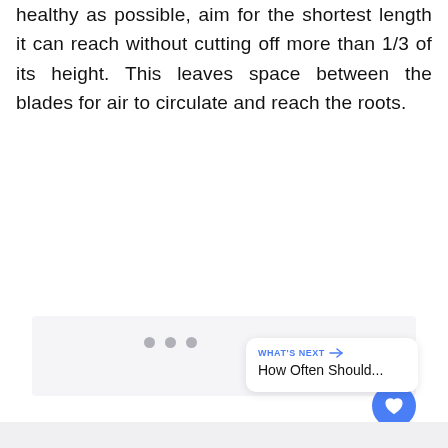healthy as possible, aim for the shortest length it can reach without cutting off more than 1/3 of its height. This leaves space between the blades for air to circulate and reach the roots.
[Figure (photo): Large image area with light gray background placeholder, containing UI elements: a heart/like button (blue circle), a count of 1, a share button (blue circle), dot navigation indicators, and a 'What's Next' card showing 'How Often Should...']